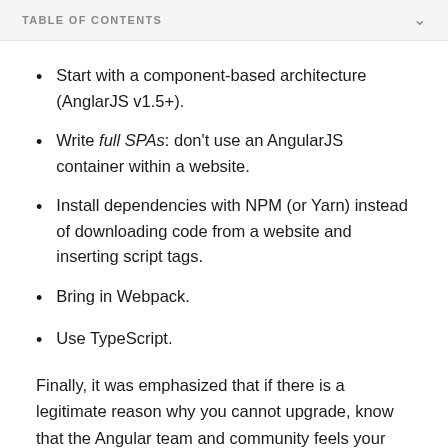TABLE OF CONTENTS
Start with a component-based architecture (AnglarJS v1.5+).
Write full SPAs: don't use an AngularJS container within a website.
Install dependencies with NPM (or Yarn) instead of downloading code from a website and inserting script tags.
Bring in Webpack.
Use TypeScript.
Finally, it was emphasized that if there is a legitimate reason why you cannot upgrade, know that the Angular team and community feels your pain and will do their best to help you move forward. The "You can sit with us"